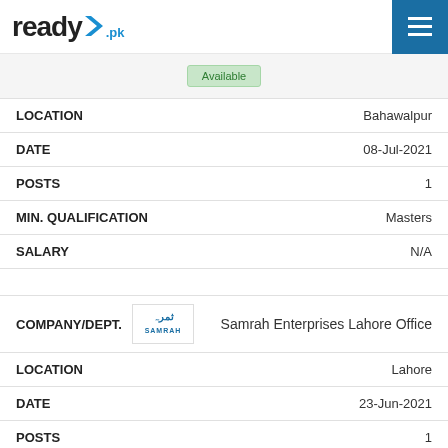ready!.pk
Available
| Field | Value |
| --- | --- |
| LOCATION | Bahawalpur |
| DATE | 08-Jul-2021 |
| POSTS | 1 |
| MIN. QUALIFICATION | Masters |
| SALARY | N/A |
| Field | Value |
| --- | --- |
| COMPANY/DEPT. | Samrah Enterprises Lahore Office |
| LOCATION | Lahore |
| DATE | 23-Jun-2021 |
| POSTS | 1 |
| MIN. QUALIFICATION | Bachelors |
| SALARY | N/A |